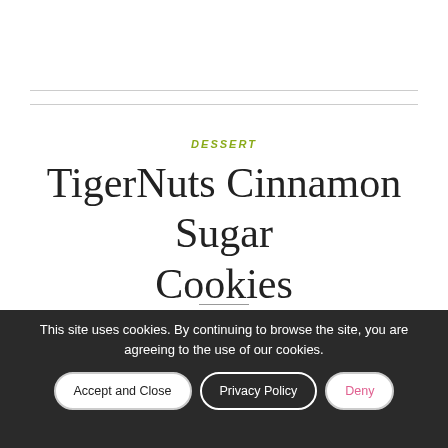DESSERT
TigerNuts Cinnamon Sugar Cookies
This post contains affiliate links. Click here to see what that means.
This site uses cookies. By continuing to browse the site, you are agreeing to the use of our cookies.
Accept and Close
Privacy Policy
Deny